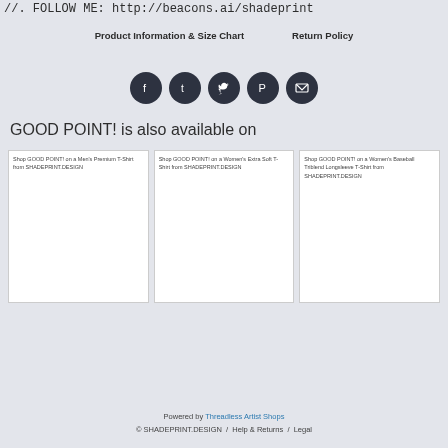//. FOLLOW ME: http://beacons.ai/shadeprint
Product Information & Size Chart    Return Policy
[Figure (other): Row of 5 social media icon buttons (Facebook, Tumblr, Twitter, Pinterest, Email) in dark circular buttons]
GOOD POINT! is also available on
[Figure (other): Three product listing cards side by side: 'Shop GOOD POINT! on a Men's Premium T-Shirt from SHADEPRINT.DESIGN', 'Shop GOOD POINT! on a Women's Extra Soft T-Shirt from SHADEPRINT.DESIGN', 'Shop GOOD POINT! on a Women's Baseball Triblend Longsleeve T-Shirt from SHADEPRINT.DESIGN']
Powered by Threadless Artist Shops
© SHADEPRINT.DESIGN / Help & Returns / Legal